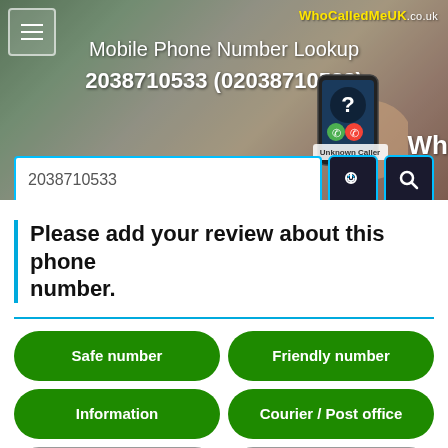[Figure (screenshot): Hero banner with phone number lookup header, search field, and smartphone showing Unknown Caller screen]
Please add your review about this phone number.
Safe number
Friendly number
Information
Courier / Post office
Coronavirus
NHS
Silent call
HSBC